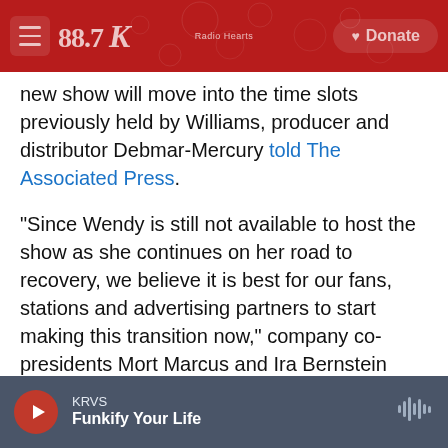KPBS / 88.7 | Radio / Donate
new show will move into the time slots previously held by Williams, producer and distributor Debmar-Mercury told The Associated Press.
"Since Wendy is still not available to host the show as she continues on her road to recovery, we believe it is best for our fans, stations and advertising partners to start making this transition now," company co-presidents Mort Marcus and Ira Bernstein said in a statement.
Inside Williams' rise from radio to TV
KRVS | Funkify Your Life